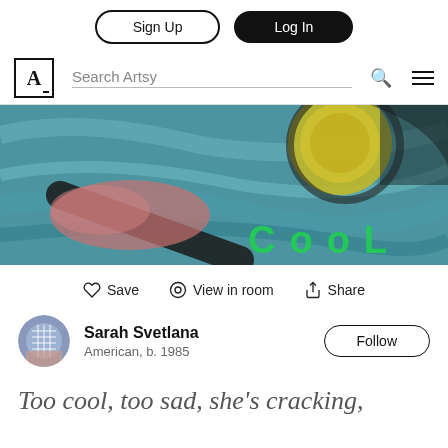Sign Up | Log In
[Figure (screenshot): Artsy navigation bar with logo, Search Artsy input field, search icon and menu icon]
[Figure (photo): Painting with teal/blue background, abstract brushstrokes in pink and dark colors, yellow circular shape, and the word COOL written in green]
Save   View in room   Share
Sarah Svetlana
American, b. 1985
Follow
Too cool, too sad, she's cracking,